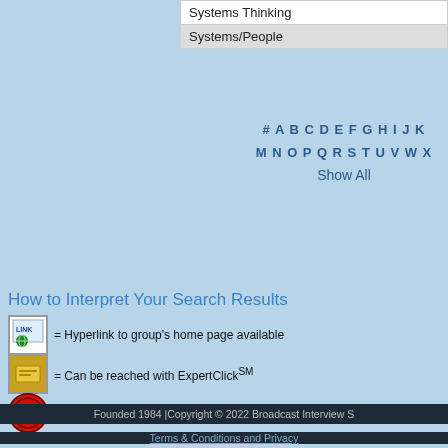| Systems Thinking |
| Systems/People |
# A B C D E F G H I J K
M N O P Q R S T U V W X
Show All
How to Interpret Your Search Results
= Hyperlink to group's home page available
= Can be reached with ExpertClickSM
= RealAudio® sound clip available for this group
= Active news releases available
= Active daybook entries available
= Full page advertisement from printed Yearbook of Experts, available for download
= SpeakerBank® brand professional speakers available for paid engagements
= Speak4Miles® brand speakers available for barter engagements.
Founded 1984 |Copyright © 2022 Broadcast Interview S
Terms & Conditions and Privacy